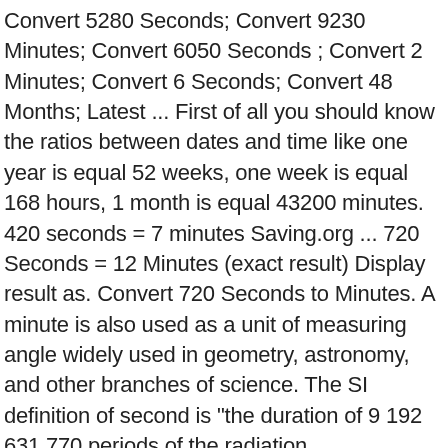Convert 5280 Seconds; Convert 9230 Minutes; Convert 6050 Seconds ; Convert 2 Minutes; Convert 6 Seconds; Convert 48 Months; Latest ... First of all you should know the ratios between dates and time like one year is equal 52 weeks, one week is equal 168 hours, 1 month is equal 43200 minutes. 420 seconds = 7 minutes Saving.org ... 720 Seconds = 12 Minutes (exact result) Display result as. Convert 720 Seconds to Minutes. A minute is also used as a unit of measuring angle widely used in geometry, astronomy, and other branches of science. The SI definition of second is "the duration of 9 192 631 770 periods of the radiation corresponding to the transition between the two hyperfine levels of the ground state of the caesium 133 atom". It is qualitatively defined as the second division of the hour by sixty, the first division by sixty being the minute. This is how they are defined: The second (symbol: s) (abbreviated s or sec) is the